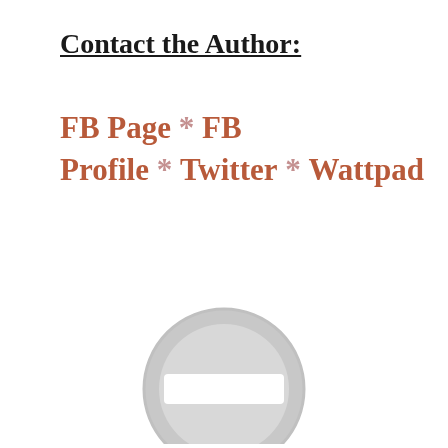Contact the Author:
FB Page * FB Profile * Twitter * Wattpad
[Figure (illustration): A grey circular no-entry / prohibited sign icon — a circle with a horizontal white rectangle bar across the center, rendered in light grey tones.]